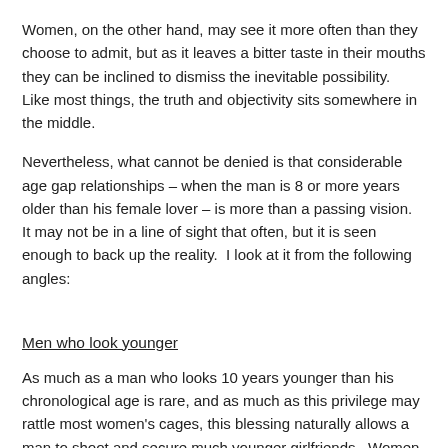Women, on the other hand, may see it more often than they choose to admit, but as it leaves a bitter taste in their mouths they can be inclined to dismiss the inevitable possibility.  Like most things, the truth and objectivity sits somewhere in the middle.
Nevertheless, what cannot be denied is that considerable age gap relationships – when the man is 8 or more years older than his female lover – is more than a passing vision.  It may not be in a line of sight that often, but it is seen enough to back up the reality.  I look at it from the following angles:
Men who look younger
As much as a man who looks 10 years younger than his chronological age is rare, and as much as this privilege may rattle most women's cages, this blessing naturally allows a man to shoot and secure much younger girlfriends.  Women don't go out of their way to find older men, but they subconsciously look for desirables that are found in older